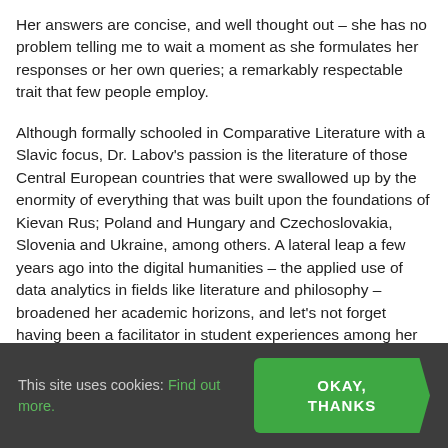Her answers are concise, and well thought out – she has no problem telling me to wait a moment as she formulates her responses or her own queries; a remarkably respectable trait that few people employ.
Although formally schooled in Comparative Literature with a Slavic focus, Dr. Labov's passion is the literature of those Central European countries that were swallowed up by the enormity of everything that was built upon the foundations of Kievan Rus; Poland and Hungary and Czechoslovakia, Slovenia and Ukraine, among others. A lateral leap a few years ago into the digital humanities – the applied use of data analytics in fields like literature and philosophy – broadened her academic horizons, and let's not forget having been a facilitator in student experiences among her list of achievements.
This site uses cookies: Find out more. | OKAY, THANKS